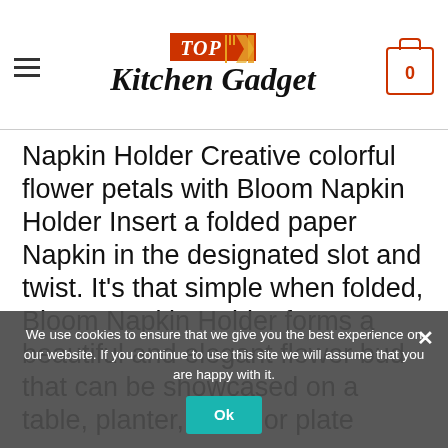Top Kitchen Gadget
Napkin Holder Creative colorful flower petals with Bloom Napkin Holder Insert a folded paper Napkin in the designated slot and twist. It’s that simple when folded, Bloom Napkin Holder forms a beautiful and elegant flower bud that can be showcased on a table, planter, vase, or plate
Perfect for Anytime you host family and friends, Parties, and dinners
You make some food and set the table elegantly. How hard can it really be to fold a napkin nicely?
We use cookies to ensure that we give you the best experience on our website. If you continue to use this site we will assume that you are happy with it.